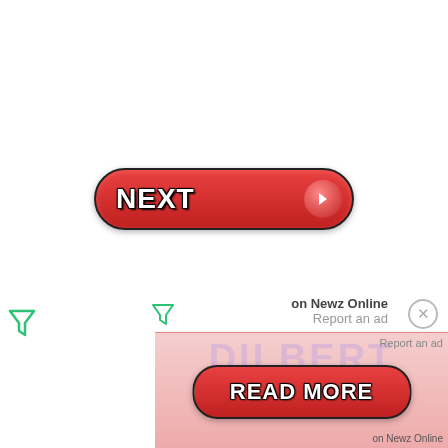[Figure (screenshot): A red rounded button labeled NEXT with a right-arrow circle on the right side]
on Newz Online
Report an ad
[Figure (screenshot): Bottom advertisement banner with Dilbert text background, a red READ MORE button, Report an ad label, and on Newz Online text]